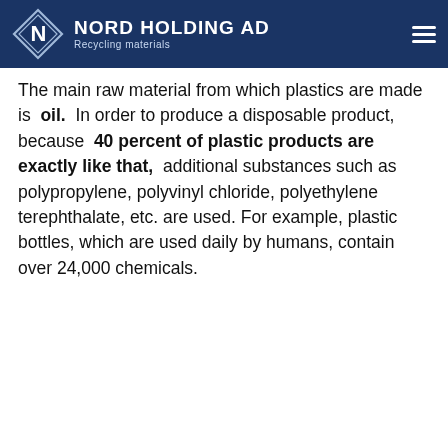NORD HOLDING AD — Recycling materials
The main raw material from which plastics are made is oil. In order to produce a disposable product, because 40 percent of plastic products are exactly like that, additional substances such as polypropylene, polyvinyl chloride, polyethylene terephthalate, etc. are used. For example, plastic bottles, which are used daily by humans, contain over 24,000 chemicals.